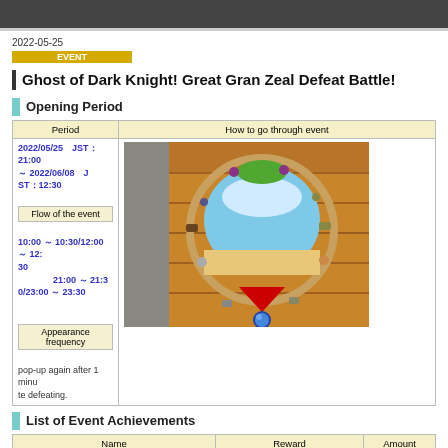2022-05-25
EVENT
Ghost of Dark Knight! Great Gran Zeal Defeat Battle!
Opening Period
| Period | How to go through event |
| --- | --- |
| 2022/05/25　JST：21:00 ～ 2022/06/08　JST：12:30 |  |
| Flow of the event |  |
| 10:00 ～ 10:30/12:00 ～ 12:30　21:00 ～ 21:30/23:00 ～ 23:30 |  |
| Appearance frequency |  |
| pop-up again after 1 minute defeating. |  |
[Figure (screenshot): Game screenshot showing a wooden board/room with a circular porthole or mirror, items around it, and a red arrow pointing down to a blue orb at the bottom.]
List of Event Achievements
| Name | Reward | Amount |
| --- | --- | --- |
| Defeat 1 Great Gran Zeal | Red Memo Pad R | 1 |